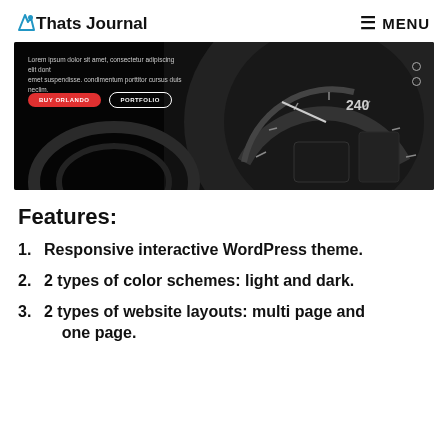Thats Journal  ≡ MENU
[Figure (screenshot): Screenshot of a WordPress theme demo showing a dark hero banner with speedometer background image, Lorem ipsum overlay text, BUY ORLANDO and PORTFOLIO buttons, and two circular navigation dots]
Features:
1. Responsive interactive WordPress theme.
2. 2 types of color schemes: light and dark.
3. 2 types of website layouts: multi page and one page.